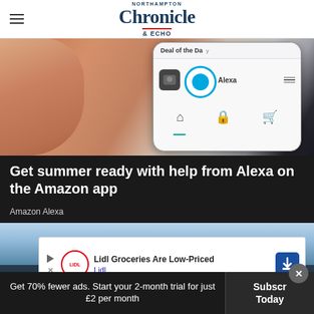Northampton Chronicle & Echo
[Figure (photo): Hand holding a smartphone showing the Amazon app with Alexa icon and 'Deal of the Day' text]
Get summer ready with help from Alexa on the Amazon app
Amazon Alexa
[Figure (photo): Aerial cityscape view with blue sky - partially obscured by Lidl advertisement overlay]
[Figure (other): Advertisement: Lidl Groceries Are Low-Priced - Lidl]
Get 70% fewer ads. Start your 2-month trial for just £2 per month
Subscribe Today